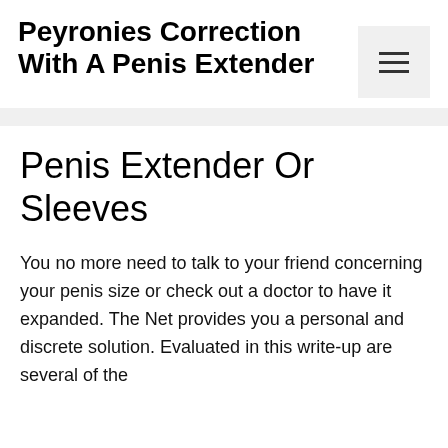Peyronies Correction With A Penis Extender
Penis Extender Or Sleeves
You no more need to talk to your friend concerning your penis size or check out a doctor to have it expanded. The Net provides you a personal and discrete solution. Evaluated in this write-up are several of the